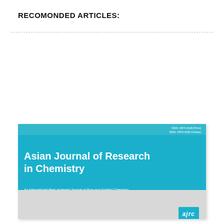RECOMONDED ARTICLES:
[Figure (illustration): Journal cover of Asian Journal of Research in Chemistry. Top cyan band with ISSN numbers (ISSN: 0974-4169 (Print), ISSN: 0974-4150 (Online)). Large cyan title area with bold white text 'Asian Journal of Research in Chemistry' and italic subtitle 'An International Peer-reviewed Journal of Pure and Applied Chemistry'. Gray middle section with large transparent 'ajrc' text. Bottom section with a blue rectangle on the left and an 'ajrc' badge logo on the lower right.]